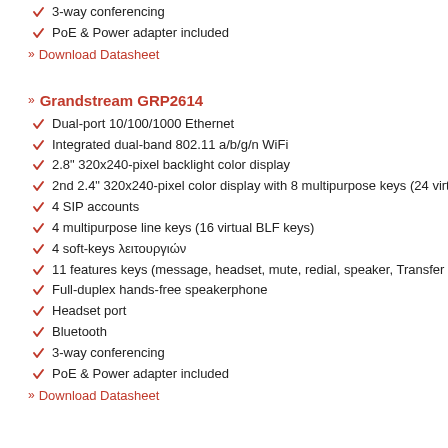3-way conferencing
PoE & Power adapter included
Download Datasheet
Grandstream GRP2614
Dual-port 10/100/1000 Ethernet
Integrated dual-band 802.11 a/b/g/n WiFi
2.8" 320x240-pixel backlight color display
2nd 2.4" 320x240-pixel color display with 8 multipurpose keys (24 virt...
4 SIP accounts
4 multipurpose line keys (16 virtual BLF keys)
4 soft-keys λειτουργιών
11 features keys (message, headset, mute, redial, speaker, Transfer κ.α.)
Full-duplex hands-free speakerphone
Headset port
Bluetooth
3-way conferencing
PoE & Power adapter included
Download Datasheet